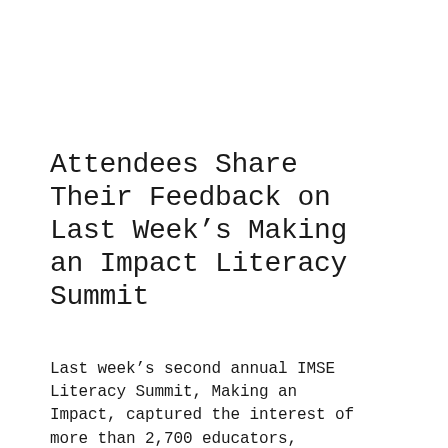Attendees Share Their Feedback on Last Week's Making an Impact Literacy Summit
Last week's second annual IMSE Literacy Summit, Making an Impact, captured the interest of more than 2,700 educators, administrators,